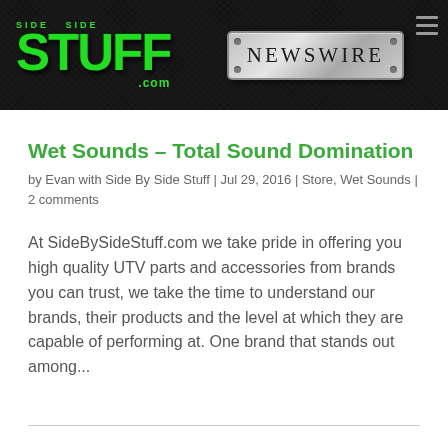Side By Side Stuff .com NEWSWIRE
Wet Sounds – Total Sound Domination
by Evan with Side By Side Stuff | Jul 29, 2016 | Store, Wet Sounds | 2 comments
At SideBySideStuff.com we take pride in offering you high quality UTV parts and accessories from brands you can trust, we take the time to understand our brands, their products and the level at which they are capable of performing at. One brand that stands out among...